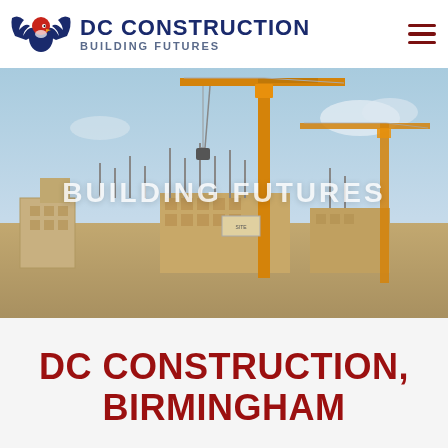[Figure (logo): DC Construction eagle logo with wings in navy blue and red]
DC CONSTRUCTION
BUILDING FUTURES
[Figure (photo): Construction site with two yellow tower cranes against a blue sky, partially built walls and scaffolding in the foreground, with overlay text BUILDING FUTURES]
DC CONSTRUCTION, BIRMINGHAM